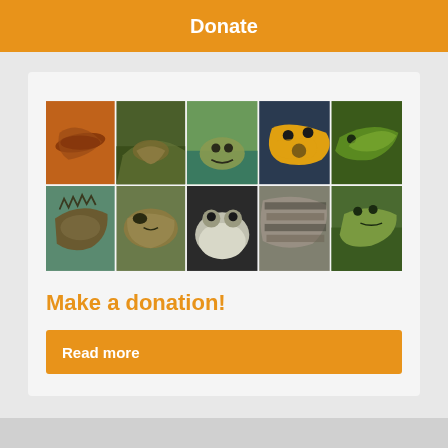Donate
[Figure (photo): Grid of 10 reptile and amphibian photos arranged in 2 rows of 5: top row shows a slow worm/snake, a lizard in grass, a frog in water, a yellow-black salamander, and a green lizard; bottom row shows a spiny lizard, a grass snake close-up, a frog with inflated throat, a patterned snake, and a small frog/lizard]
Make a donation!
Make a donation to help support our important work
Read more